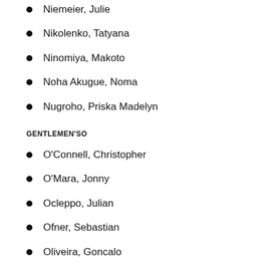Niemeier, Julie
Nikolenko, Tatyana
Ninomiya, Makoto
Noha Akugue, Noma
Nugroho, Priska Madelyn
GENTLEMEN'SO
O'Connell, Christopher
O'Mara, Jonny
Ocleppo, Julian
Ofner, Sebastian
Oliveira, Goncalo